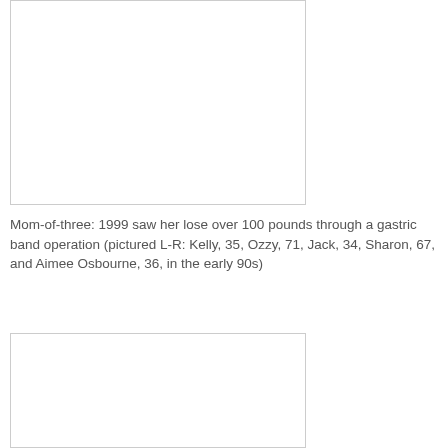[Figure (photo): Photo placeholder — top image, white rectangle with border]
Mom-of-three: 1999 saw her lose over 100 pounds through a gastric band operation (pictured L-R: Kelly, 35, Ozzy, 71, Jack, 34, Sharon, 67, and Aimee Osbourne, 36, in the early 90s)
[Figure (photo): Photo placeholder — bottom image, white rectangle with border]